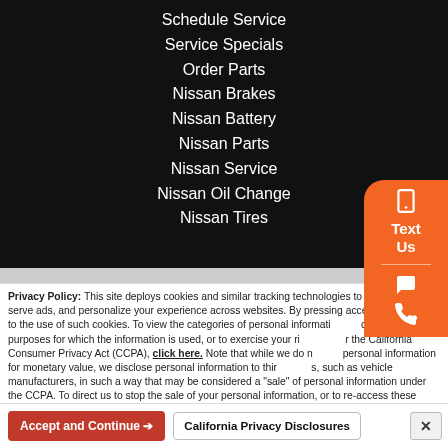Schedule Service
Service Specials
Order Parts
Nissan Brakes
Nissan Battery
Nissan Parts
Nissan Service
Nissan Oil Change
Nissan Tires
[Figure (illustration): Orange floating button with phone/text/chat icons on right side]
Privacy Policy: This site deploys cookies and similar tracking technologies to build profiles, serve ads, and personalize your experience across websites. By pressing accept, you consent to the use of such cookies. To view the categories of personal information we collect and the purposes for which the information is used, or to exercise your rights under the California Consumer Privacy Act (CCPA), click here. Note that while we do not sell personal information for monetary value, we disclose personal information to third parties, such as vehicle manufacturers, in such a way that may be considered a "sale" of personal information under the CCPA. To direct us to stop the sale of your personal information, or to re-access these settings or disclosures at anytime, click the following icon or link:
Do Not Sell My Personal Information
Language: English
Powered by ComplyAuto
Accept and Continue →
California Privacy Disclosures
×